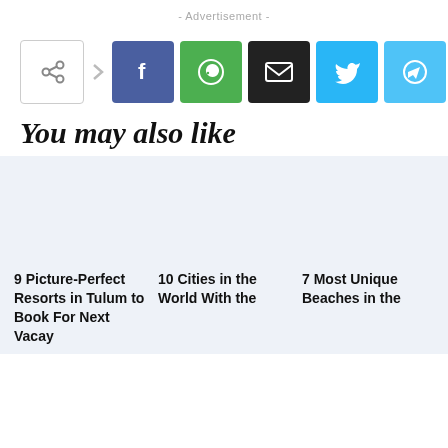- Advertisement -
[Figure (infographic): Social share bar with icons: share button, Facebook (blue), WhatsApp (green), Email (black), Twitter (light blue), Telegram (blue)]
You may also like
9 Picture-Perfect Resorts in Tulum to Book For Next Vacay
10 Cities in the World With the
7 Most Unique Beaches in the
[Figure (infographic): Stay In Touch popup panel with Follow Us On Social Media text and Facebook and Instagram icons]